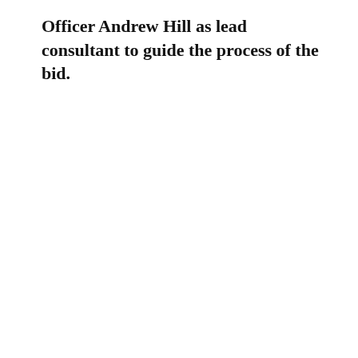Officer Andrew Hill as lead consultant to guide the process of the bid.